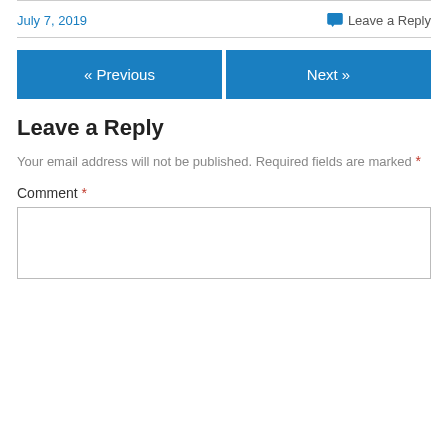July 7, 2019
💬 Leave a Reply
« Previous
Next »
Leave a Reply
Your email address will not be published. Required fields are marked *
Comment *